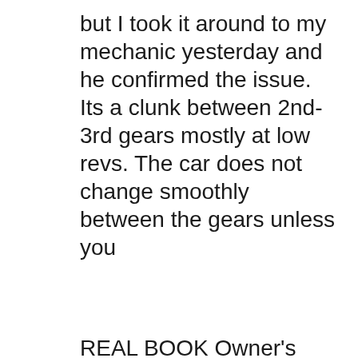but I took it around to my mechanic yesterday and he confirmed the issue. Its a clunk between 2nd-3rd gears mostly at low revs. The car does not change smoothly between the gears unless you
REAL BOOK Owner's Manual Supplement for 2017 Shelby GT350 Mustang models We have over 70 other different Shelby Books & Manuals in our Seattle store that we are working on listing We have over 730 other different Mustang Books & Manuals in our Seattle store that we are working on listing 15/09/2017B B· I am in love with my new Mustang but am experiencing problems with my April built 2017